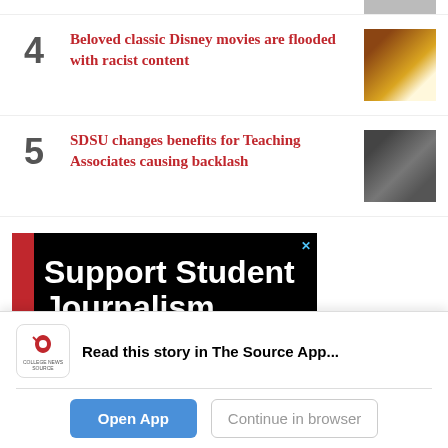4 Beloved classic Disney movies are flooded with racist content
5 SDSU changes benefits for Teaching Associates causing backlash
[Figure (infographic): Advertisement banner: black background with red vertical bar, text 'Support Student Journalism' and 'MAKE A DONATION TODAY!']
Read this story in The Source App...
Open App   Continue in browser